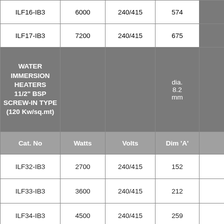| Cat. No | Watts | Volts | Dim 'A' |  |
| --- | --- | --- | --- | --- |
| ILF16-IB3 | 6000 | 240/415 | 574 |  |
| ILF17-IB3 | 7200 | 240/415 | 675 |  |
| WATER IMMERSION HEATERS 11/2" BSP SCREW-IN TYPE (120 Kw/sq.mt) |  |  | dia. 8.2 mm |  |
| Cat. No | Watts | Volts | Dim 'A' |  |
| ILF32-IB3 | 2700 | 240/415 | 152 |  |
| ILF33-IB3 | 3600 | 240/415 | 212 |  |
| ILF34-IB3 | 4500 | 240/415 | 259 |  |
| ILF35-IB3 | 5400 | 240/415 | 307 |  |
| ILF36-IB3 | 6000 | 240/415 | 339 |  |
| ILF37-IB3 | 7200 | 240/415 | 404 |  |
| ILF38-IB3 | 9000 | 240/415 | 502 |  |